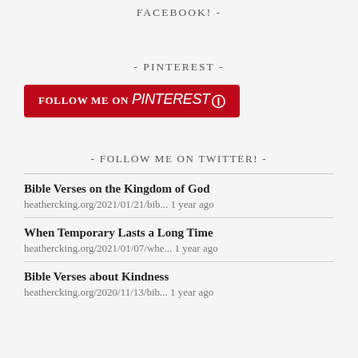FACEBOOK! -
- PINTEREST -
[Figure (logo): FOLLOW ME ON Pinterest red button]
- FOLLOW ME ON TWITTER! -
Bible Verses on the Kingdom of God
heathercking.org/2021/01/21/bib... 1 year ago
When Temporary Lasts a Long Time
heathercking.org/2021/01/07/whe... 1 year ago
Bible Verses about Kindness
heathercking.org/2020/11/13/bib... 1 year ago